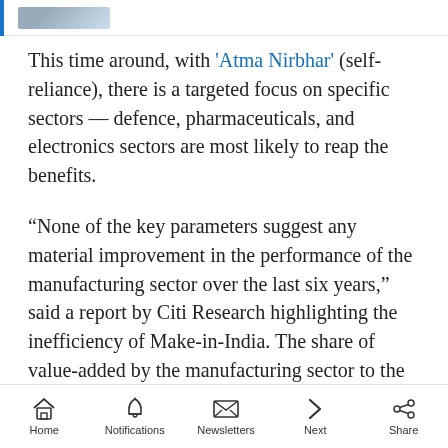This time around, with 'Atma Nirbhar' (self-reliance), there is a targeted focus on specific sectors — defence, pharmaceuticals, and electronics sectors are most likely to reap the benefits.
“None of the key parameters suggest any material improvement in the performance of the manufacturing sector over the last six years,” said a report by Citi Research highlighting the inefficiency of Make-in-India. The share of value-added by the manufacturing sector to the country’s overall production has remained
Home  Notifications  Newsletters  Next  Share